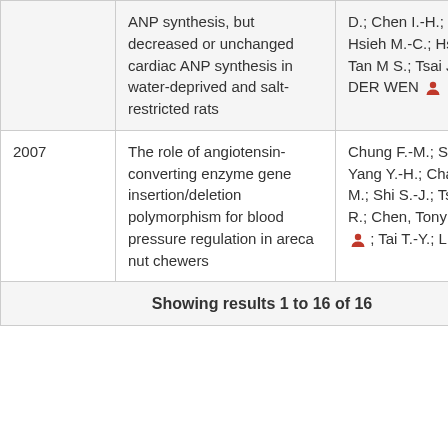| Year | Title | Authors |
| --- | --- | --- |
|  | ANP synthesis, but decreased or unchanged cardiac ANP synthesis in water-deprived and salt-restricted rats | D.; Chen I.-H.; La F.-J.; Hsieh M.-C.; Hsieh T.-J.; Tan M S.; Tsai J.-H.; JIN DER WEN [icon] |
| 2007 | The role of angiotensin-converting enzyme gene insertion/deletion polymorphism for blood pressure regulation in areca nut chewers | Chung F.-M.; Shi T.-Y.; Yang Y.-H.; Chang D.-M.; Shi S.-J.; Tsai J.C.-R.; Chen, Tony Hsiu Hsi [icon]; Tai T.-Y.; L Y.-J. |
|  | Showing results 1 to 16 of 16 |  |